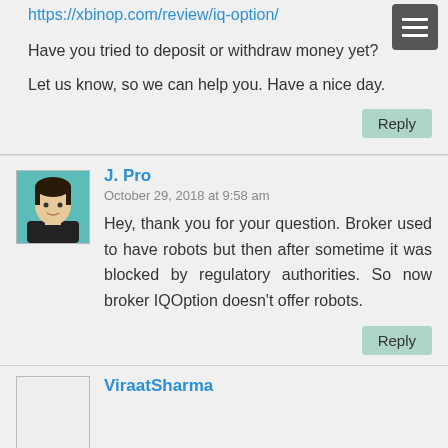https://xbinop.com/review/iq-option/
Have you tried to deposit or withdraw money yet?
Let us know, so we can help you. Have a nice day.
Reply
J. Pro
October 29, 2018 at 9:58 am
Hey, thank you for your question. Broker used to have robots but then after sometime it was blocked by regulatory authorities. So now broker IQOption doesn't offer robots.
Reply
ViraatSharma